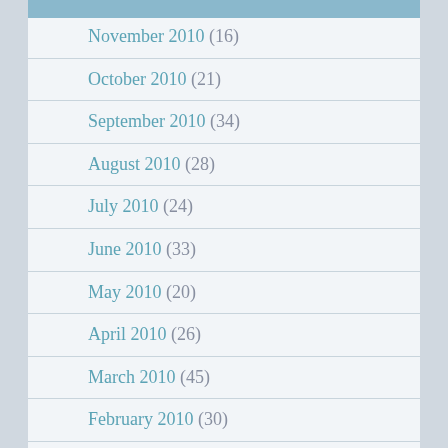November 2010 (16)
October 2010 (21)
September 2010 (34)
August 2010 (28)
July 2010 (24)
June 2010 (33)
May 2010 (20)
April 2010 (26)
March 2010 (45)
February 2010 (30)